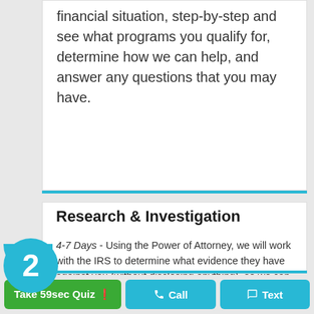financial situation, step-by-step and see what programs you qualify for, determine how we can help, and answer any questions that you may have.
Research & Investigation
4-7 Days - Using the Power of Attorney, we will work with the IRS to determine what evidence they have against you (without disclosing anything), so we can create a plan of attack.